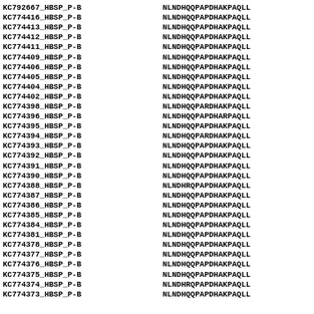| ID | Sequence |
| --- | --- |
| KC792667_HBSP_P-B | NLNDHQQPAPDHAKPAQLL |
| KC774416_HBSP_P-B | NLNDHQQPAPDHAKPAQLL |
| KC774413_HBSP_P-B | NLNDHQQPAPDHAKPAQLL |
| KC774412_HBSP_P-B | NLNDHQQPAPDHAKPAQLL |
| KC774411_HBSP_P-B | NLNDHQQPAPDHAKPAQLL |
| KC774409_HBSP_P-B | NLNDHQQPAPDHAKPAQLL |
| KC774406_HBSP_P-B | NLNDHQQPAPDHAKPAQLL |
| KC774405_HBSP_P-B | NLNDHQQPAPDHAKPAQLL |
| KC774404_HBSP_P-B | NLNDHQQPAPDHAKPAQLL |
| KC774402_HBSP_P-B | NLNDHQQPAPDHAKPAQLL |
| KC774398_HBSP_P-B | NLNDHQQPARDHAKPAQLL |
| KC774396_HBSP_P-B | NLNDHQQPAPDHARPAQLL |
| KC774395_HBSP_P-B | NLNDHQQPAPDHAKPAQLL |
| KC774394_HBSP_P-B | NLNDHQQPARDHAKPAQLL |
| KC774393_HBSP_P-B | NLNDHQQPAPDHAKPAQLL |
| KC774392_HBSP_P-B | NLNDHQQPAPDHAKPAQLL |
| KC774391_HBSP_P-B | NLNDHQQPAPDHAKPAQLL |
| KC774390_HBSP_P-B | NLNDHQQPAPDHAKPAQLL |
| KC774388_HBSP_P-B | NLNDHRQPAPDHAKPAQLL |
| KC774387_HBSP_P-B | NLNDHQQPAPDHAKPAQLL |
| KC774386_HBSP_P-B | NLNDHQQPAPDHAKPAQLL |
| KC774385_HBSP_P-B | NLNDHQQPAPDHAKPAQLL |
| KC774384_HBSP_P-B | NLNDHQQPAPDHAKPAQLL |
| KC774381_HBSP_P-B | NLNDHQQPAPDHAKPAQLL |
| KC774378_HBSP_P-B | NLNDHQQPAPDHAKPAQLL |
| KC774377_HBSP_P-B | NLNDHQQPAPDHAKPAQLL |
| KC774376_HBSP_P-B | NLNDHQQPAPDHAKPAQLL |
| KC774375_HBSP_P-B | NLNDHQQPAPDHAKPAQLL |
| KC774374_HBSP_P-B | NLNDHRQPAPDHAKPAQLL |
| KC774373_HBSP_P-B | NLNDHQQPAPDHAKPAQLL |